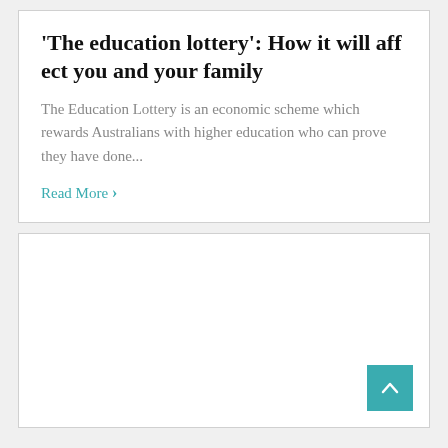'The education lottery': How it will affect you and your family
The Education Lottery is an economic scheme which rewards Australians with higher education who can prove they have done...
Read More >
[Figure (other): Empty white card with a back-to-top teal button in the bottom right corner]